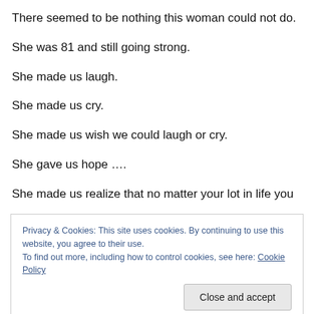There seemed to be nothing this woman could not do.
She was 81 and still going strong.
She made us laugh.
She made us cry.
She made us wish we could laugh or cry.
She gave us hope ….
She made us realize that no matter your lot in life you
Privacy & Cookies: This site uses cookies. By continuing to use this website, you agree to their use.
To find out more, including how to control cookies, see here: Cookie Policy
Close and accept